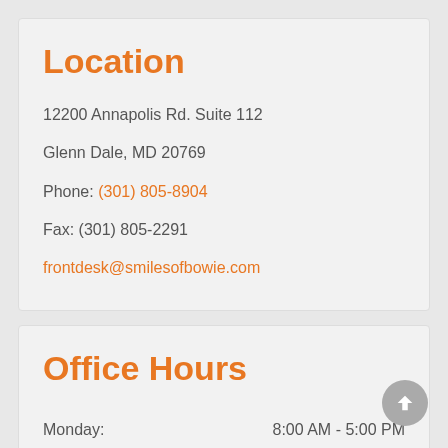Location
12200 Annapolis Rd. Suite 112
Glenn Dale, MD 20769
Phone: (301) 805-8904
Fax: (301) 805-2291
frontdesk@smilesofbowie.com
Office Hours
Monday: 8:00 AM - 5:00 PM